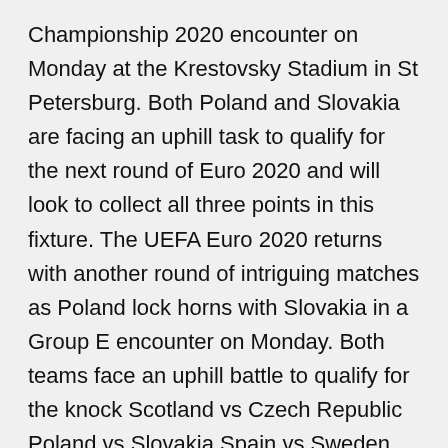Championship 2020 encounter on Monday at the Krestovsky Stadium in St Petersburg. Both Poland and Slovakia are facing an uphill task to qualify for the next round of Euro 2020 and will look to collect all three points in this fixture. The UEFA Euro 2020 returns with another round of intriguing matches as Poland lock horns with Slovakia in a Group E encounter on Monday. Both teams face an uphill battle to qualify for the knock Scotland vs Czech Republic Poland vs Slovakia Spain vs Sweden . UEFA Euro 2020 Live Score, Scotland vs Czech Republic Updates: Robert Mak's strike finds its way into the back of the net but it Lewandowski leads Poland against Slovakia at EURO 2020 With games against Spain and Sweden on the horizon, both Poland and Slovakia will want to get off to a good start as they meet in their Group UEFA Euro 2020 Poland vs